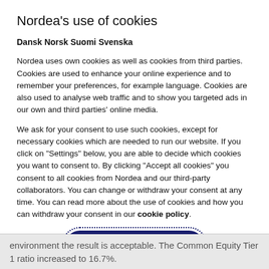Nordea's use of cookies
Dansk Norsk Suomi Svenska
Nordea uses own cookies as well as cookies from third parties. Cookies are used to enhance your online experience and to remember your preferences, for example language. Cookies are also used to analyse web traffic and to show you targeted ads in our own and third parties' online media.
We ask for your consent to use such cookies, except for necessary cookies which are needed to run our website. If you click on "Settings" below, you are able to decide which cookies you want to consent to. By clicking "Accept all cookies" you consent to all cookies from Nordea and our third-party collaborators. You can change or withdraw your consent at any time. You can read more about the use of cookies and how you can withdraw your consent in our cookie policy.
Accept all cookies
Settings
environment the result is acceptable. The Common Equity Tier 1 ratio increased to 16.7%.
In the past year we have significantly strengthened the